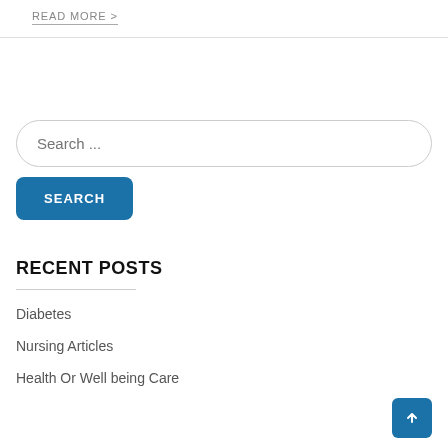READ MORE >
Search ...
SEARCH
RECENT POSTS
Diabetes
Nursing Articles
Health Or Well being Care